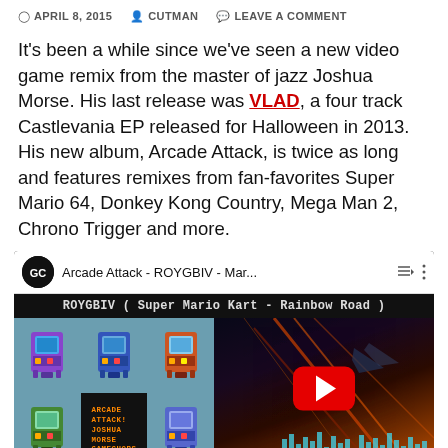APRIL 8, 2015   CUTMAN   LEAVE A COMMENT
It’s been a while since we’ve seen a new video game remix from the master of jazz Joshua Morse. His last release was VLAD, a four track Castlevania EP released for Halloween in 2013. His new album, Arcade Attack, is twice as long and features remixes from fan-favorites Super Mario 64, Donkey Kong Country, Mega Man 2, Chrono Trigger and more.
[Figure (screenshot): YouTube video embed showing 'Arcade Attack - ROYGBIV - Mar...' with subtitle 'ROYGBIV ( Super Mario Kart - Rainbow Road )'. Left side shows arcade machine thumbnail grid and album art. Right side shows Rainbow Road game footage with a red YouTube play button overlay and cyan waveform bars at bottom.]